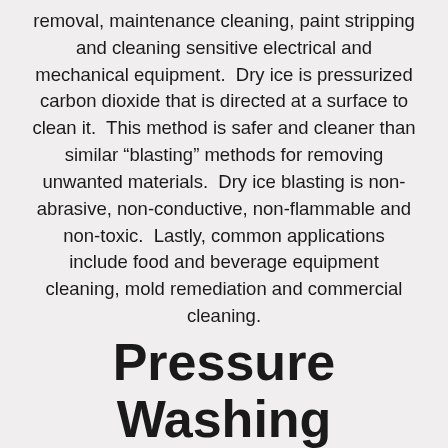removal, maintenance cleaning, paint stripping and cleaning sensitive electrical and mechanical equipment.  Dry ice is pressurized carbon dioxide that is directed at a surface to clean it.  This method is safer and cleaner than similar “blasting” methods for removing unwanted materials.  Dry ice blasting is non-abrasive, non-conductive, non-flammable and non-toxic.  Lastly, common applications include food and beverage equipment cleaning, mold remediation and commercial cleaning.
Pressure Washing